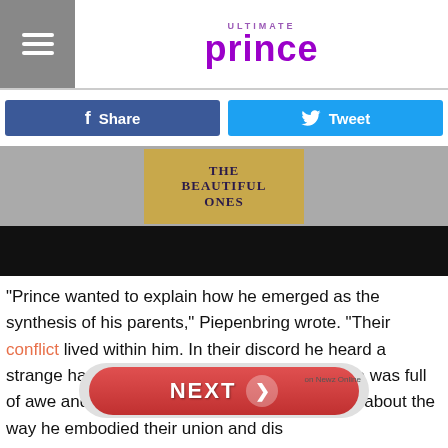ULTIMATE PRINCE
[Figure (screenshot): Facebook Share button (blue) and Twitter Tweet button (cyan/blue)]
[Figure (photo): Book cover showing 'THE BEAUTIFUL ONES' on a gold/brown background, below which is a black area]
“Prince wanted to explain how he emerged as the synthesis of his parents,” Piepenbring wrote. “Their conflict lived within him. In their discord he heard a strange harmony that inspired him to create. He was full of awe and insight about his mother and father, about the way he embodied their union and dis
[Figure (infographic): Red NEXT button with arrow, labeled 'on Newz Online']